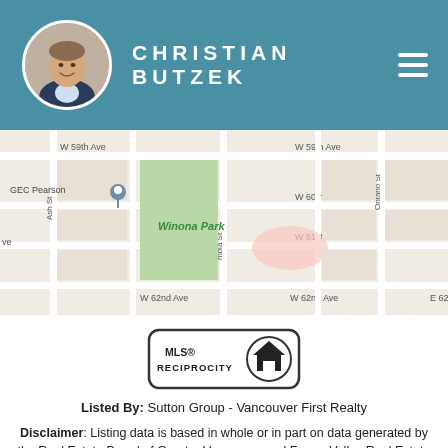CHRISTIAN BUTZEK
[Figure (map): Street map showing Winona Park area in Vancouver with streets W 59th Ave, W 60th Ave, W 61st Ave, W 62nd Ave, Ash St, Columbia St, Ontario St, and GEC Pearson location marker]
[Figure (logo): MLS Reciprocity logo with house icon]
Listed By: Sutton Group - Vancouver First Realty
Disclaimer: Listing data is based in whole or in part on data generated by the Real Estate Board of Greater Vancouver and Fraser Valley Real Estate Board which assumes no responsibility for